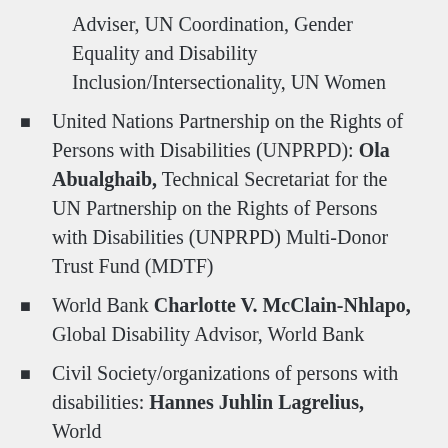Adviser, UN Coordination, Gender Equality and Disability Inclusion/Intersectionality, UN Women
United Nations Partnership on the Rights of Persons with Disabilities (UNPRPD): Ola Abualghaib, Technical Secretariat for the UN Partnership on the Rights of Persons with Disabilities (UNPRPD) Multi-Donor Trust Fund (MDTF)
World Bank Charlotte V. McClain-Nhlapo, Global Disability Advisor, World Bank
Civil Society/organizations of persons with disabilities: Hannes Juhlin Lagrelius, World